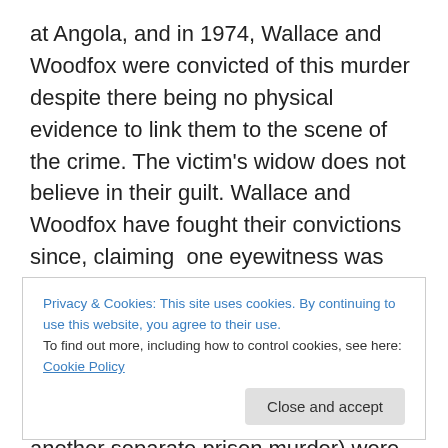at Angola, and in 1974, Wallace and Woodfox were convicted of this murder despite there being no physical evidence to link them to the scene of the crime. The victim's widow does not believe in their guilt. Wallace and Woodfox have fought their convictions since, claiming one eyewitness was legally blind and another witness, rewarded for his testimony, was known for being a prison snitch. Known as the Angola 3, Wallace, Woodfox, and Robert King (who was accused of another separate prison murder) were put in solitary. King was released in 2001 after 20 years when his case was overturned. Wallace and
Privacy & Cookies: This site uses cookies. By continuing to use this website, you agree to their use.
To find out more, including how to control cookies, see here: Cookie Policy